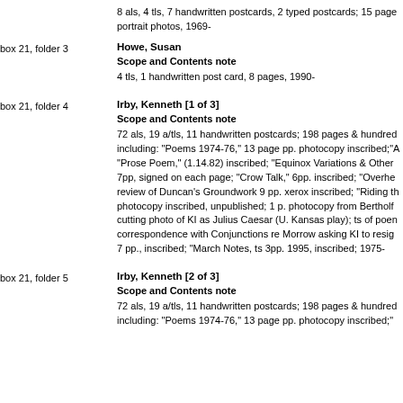8 als, 4 tls, 7 handwritten postcards, 2 typed postcards; 15 page portrait photos, 1969-
box 21, folder 3
Howe, Susan
Scope and Contents note
4 tls, 1 handwritten post card, 8 pages, 1990-
box 21, folder 4
Irby, Kenneth [1 of 3]
Scope and Contents note
72 als, 19 a/tls, 11 handwritten postcards; 198 pages & hundreds including: "Poems 1974-76," 13 page pp. photocopy inscribed;"A "Prose Poem," (1.14.82) inscribed; "Equinox Variations & Other 7pp, signed on each page; "Crow Talk," 6pp. inscribed; "Overhe review of Duncan's Groundwork 9 pp. xerox inscribed; "Riding th photocopy inscribed, unpublished; 1 p. photocopy from Bertholf cutting photo of KI as Julius Caesar (U. Kansas play); ts of poen correspondence with Conjunctions re Morrow asking KI to resig 7 pp., inscribed; "March Notes, ts 3pp. 1995, inscribed; 1975-
box 21, folder 5
Irby, Kenneth [2 of 3]
Scope and Contents note
72 als, 19 a/tls, 11 handwritten postcards; 198 pages & hundreds including: "Poems 1974-76," 13 page pp. photocopy inscribed;